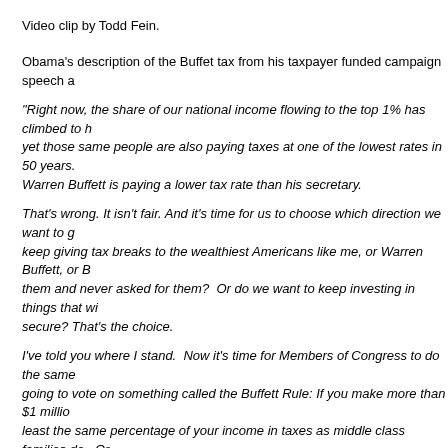Video clip by Todd Fein.
Obama's description of the Buffet tax from his taxpayer funded campaign speech a
"Right now, the share of our national income flowing to the top 1% has climbed to h yet those same people are also paying taxes at one of the lowest rates in 50 years. Warren Buffett is paying a lower tax rate than his secretary.
That's wrong. It isn't fair. And it's time for us to choose which direction we want to g keep giving tax breaks to the wealthiest Americans like me, or Warren Buffett, or B them and never asked for them?  Or do we want to keep investing in things that wi secure? That's the choice.
I've told you where I stand.  Now it's time for Members of Congress to do the same going to vote on something called the Buffett Rule: If you make more than $1 millio least the same percentage of your income in taxes as middle class families do.  Or $250,000 a year – like 98 percent of American families do – your taxes shouldn't g
A year ago we posted why this won't work in an article by Alan Reynolds at CATO I
It is not as though we have never tried high tax rates before. Fro tax rate was 20% to 22% and the highest was 91% to 92%. The approached 40% in 1976-77. Aside from cyclical swings, howev income tax receipts to GDP has always remained about 8% of G